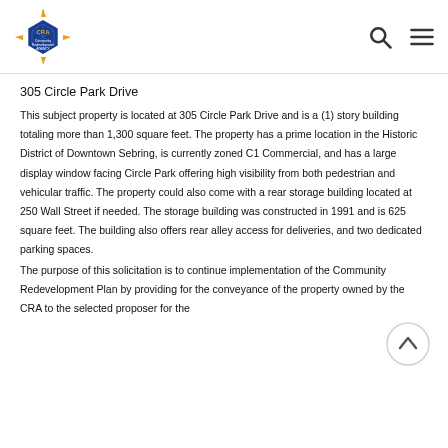CRA Community Redevelopment Agency
305 Circle Park Drive
This subject property is located at 305 Circle Park Drive and is a (1) story building totaling more than 1,300 square feet. The property has a prime location in the Historic District of Downtown Sebring, is currently zoned C1 Commercial, and has a large display window facing Circle Park offering high visibility from both pedestrian and vehicular traffic. The property could also come with a rear storage building located at 250 Wall Street if needed. The storage building was constructed in 1991 and is 625 square feet. The building also offers rear alley access for deliveries, and two dedicated parking spaces.
The purpose of this solicitation is to continue implementation of the Community Redevelopment Plan by providing for the conveyance of the property owned by the CRA to the selected proposer for the